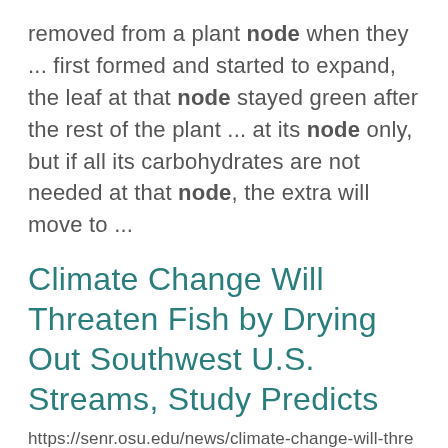removed from a plant node when they ... first formed and started to expand, the leaf at that node stayed green after the rest of the plant ... at its node only, but if all its carbohydrates are not needed at that node, the extra will move to ...
Climate Change Will Threaten Fish by Drying Out Southwest U.S. Streams, Study Predicts
https://senr.osu.edu/news/climate-change-will-threaten-fish-drying-out-southwest-us-streams-study-predicts
pieces all linked to each other, with nodes placed 2 kilometers apart throughout the